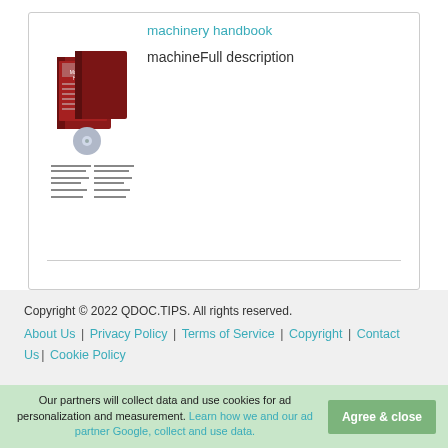[Figure (illustration): Book cover image for Machinery's Handbook with multiple volumes shown]
machinery handbook
machineFull description
Copyright © 2022 QDOC.TIPS. All rights reserved. About Us | Privacy Policy | Terms of Service | Copyright | Contact Us | Cookie Policy
Our partners will collect data and use cookies for ad personalization and measurement. Learn how we and our ad partner Google, collect and use data. Agree & close